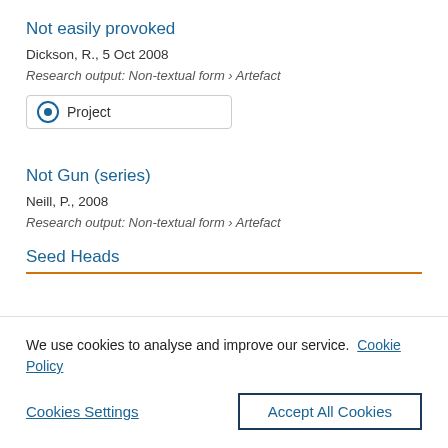Not easily provoked
Dickson, R., 5 Oct 2008
Research output: Non-textual form › Artefact
Project
Not Gun (series)
Neill, P., 2008
Research output: Non-textual form › Artefact
Seed Heads
We use cookies to analyse and improve our service. Cookie Policy
Cookies Settings
Accept All Cookies